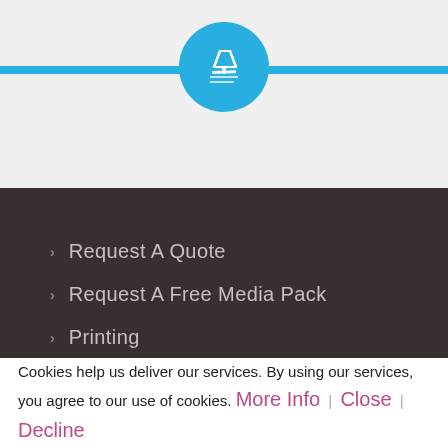[Figure (illustration): Blue circle icon with a pen/writing symbol on it, centered on a horizontal blue bar, against a light gray background]
Request A Quote
Request A Free Media Pack
Printing
Cookies help us deliver our services. By using our services, you agree to our use of cookies. More Info | Close | Decline